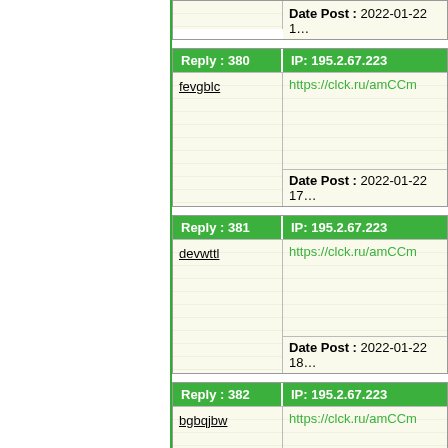|  | Date Post : 2022-01-22 16... |
| --- | --- |
|  |
| Reply : 380 | IP: 195.2.67.223 |
| --- | --- |
| fevgblc | https://clck.ru/amCCm |
|  | Date Post : 2022-01-22 17... |
| Reply : 381 | IP: 195.2.67.223 |
| --- | --- |
| devwttl | https://clck.ru/amCCm |
|  | Date Post : 2022-01-22 18... |
| Reply : 382 | IP: 195.2.67.223 |
| --- | --- |
| bgbqjbw | https://clck.ru/amCCm |